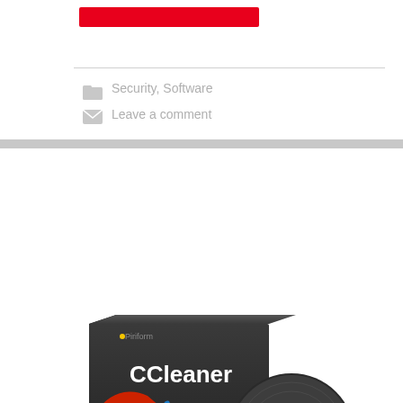[Figure (other): Red rectangular button/bar at top of page]
Security, Software
Leave a comment
[Figure (photo): CCleaner software box and CD product image by Piriform. Box shows CCleaner logo (red C with blue brush) and a CD disc beside it. Website www.piriform.com shown at bottom of box.]
CCleaner Professional Key